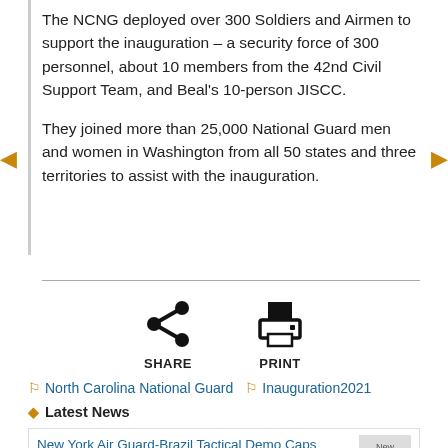The NCNG deployed over 300 Soldiers and Airmen to support the inauguration – a security force of 300 personnel, about 10 members from the 42nd Civil Support Team, and Beal's 10-person JISCC.
They joined more than 25,000 National Guard men and women in Washington from all 50 states and three territories to assist with the inauguration.
[Figure (other): Share and Print icons with labels SHARE and PRINT]
North Carolina National Guard  Inauguration2021
Latest News
New York Air Guard-Brazil Tactical Demo Caps Exercise Tapio